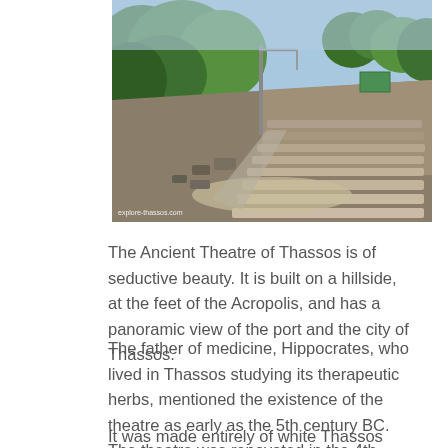[Figure (photo): Aerial view of the Ancient Theatre of Thassos, showing stone seating rows (cavea) on a hillside surrounded by green trees, with excavation/construction equipment visible and a rocky landscape. Watermark reads 'explore-thassos.com'.]
The Ancient Theatre of Thassos is of seductive beauty. It is built on a hillside, at the feet of the Acropolis, and has a panoramic view of the port and the city of Thassos.
The father of medicine, Hippocrates, who lived in Thassos studying its therapeutic herbs, mentioned the existence of the theatre as early as the 5th century BC. The theatre was renovated in the 4th century BC, and once again during the Roman times, when it acquired its present form.
It was made entirely of white Thassos marble, both the koilon (audience) and the skene (scene). Today